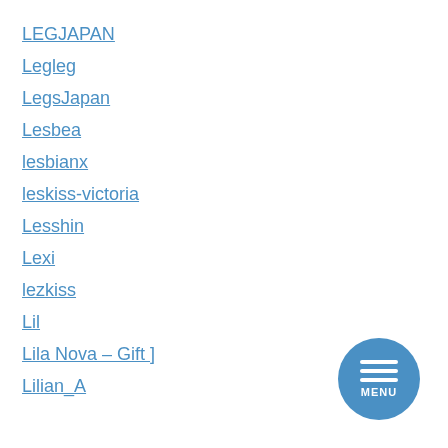LEGJAPAN
Legleg
LegsJapan
Lesbea
lesbianx
leskiss-victoria
Lesshin
Lexi
lezkiss
Lil
Lila Nova – Gift ]
Lilian_A